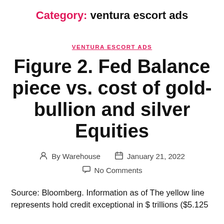Category: ventura escort ads
VENTURA ESCORT ADS
Figure 2. Fed Balance piece vs. cost of gold-bullion and silver Equities
By Warehouse   January 21, 2022
No Comments
Source: Bloomberg. Information as of The yellow line represents hold credit exceptional in $ trillions ($5.125